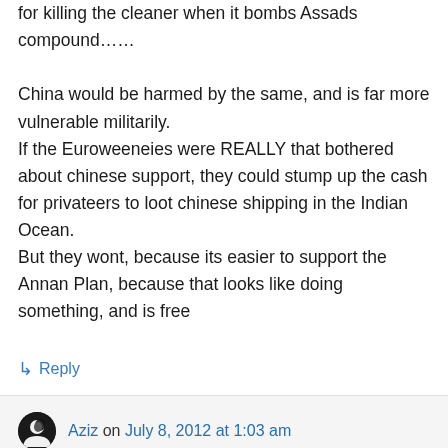for killing the cleaner when it bombs Assads compound……

China would be harmed by the same, and is far more vulnerable militarily.
If the Euroweeneies were REALLY that bothered about chinese support, they could stump up the cash for privateers to loot chinese shipping in the Indian Ocean.
But they wont, because its easier to support the Annan Plan, because that looks like doing something, and is free
↳ Reply
Aziz on July 8, 2012 at 1:03 am